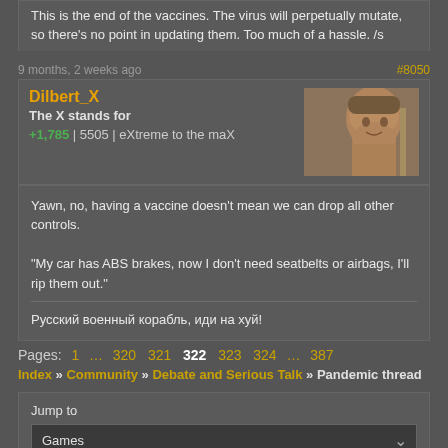This is the end of the vaccines. The virus will perpetually mutate, so there's no point in updating them. Too much of a hassle. /s
9 months, 2 weeks ago
#8050
Dilbert_X
The X stands for
+1,785 | 5505 | eXtreme to the maX
Yawn, no, having a vaccine doesn't mean we can drop all other controls.

"My car has ABS brakes, now I don't need seatbelts or airbags, I'll rip them out."
Русский военный корабль, иди на хуй!
Pages: 1 … 320 321 322 323 324 … 387
Index » Community » Debate and Serious Talk » Pandemic thread
Jump to
Games
Go
Privacy Policy - © 2022 Jeff Minard